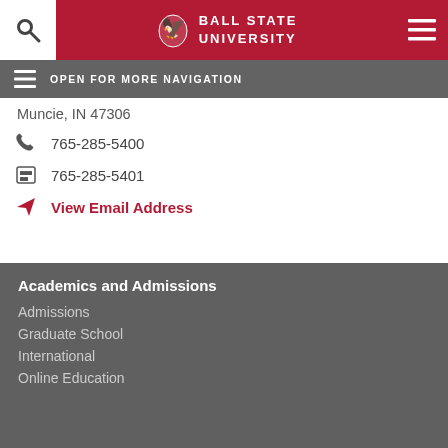Ball State University
OPEN FOR MORE NAVIGATION
Muncie, IN 47306
765-285-5400
765-285-5401
View Email Address
Academics and Admissions
Admissions
Graduate School
International
Online Education